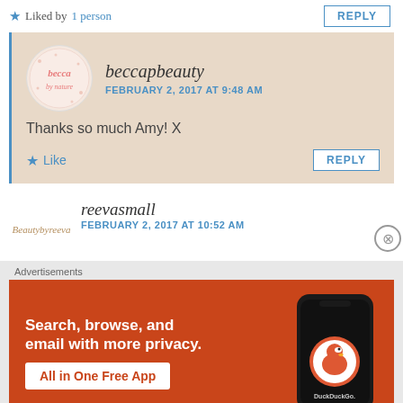Liked by 1 person
REPLY
beccapbeauty
FEBRUARY 2, 2017 AT 9:48 AM
Thanks so much Amy! X
Like
REPLY
reevasmall
FEBRUARY 2, 2017 AT 10:52 AM
Advertisements
[Figure (other): DuckDuckGo advertisement banner with phone mockup. Text: Search, browse, and email with more privacy. All in One Free App. DuckDuckGo.]